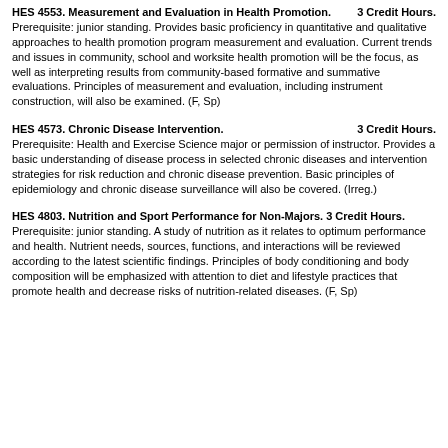HES 4553. Measurement and Evaluation in Health Promotion. 3 Credit Hours.
Prerequisite: junior standing. Provides basic proficiency in quantitative and qualitative approaches to health promotion program measurement and evaluation. Current trends and issues in community, school and worksite health promotion will be the focus, as well as interpreting results from community-based formative and summative evaluations. Principles of measurement and evaluation, including instrument construction, will also be examined. (F, Sp)
HES 4573. Chronic Disease Intervention. 3 Credit Hours.
Prerequisite: Health and Exercise Science major or permission of instructor. Provides a basic understanding of disease process in selected chronic diseases and intervention strategies for risk reduction and chronic disease prevention. Basic principles of epidemiology and chronic disease surveillance will also be covered. (Irreg.)
HES 4803. Nutrition and Sport Performance for Non-Majors. 3 Credit Hours.
Prerequisite: junior standing. A study of nutrition as it relates to optimum performance and health. Nutrient needs, sources, functions, and interactions will be reviewed according to the latest scientific findings. Principles of body conditioning and body composition will be emphasized with attention to diet and lifestyle practices that promote health and decrease risks of nutrition-related diseases. (F, Sp)